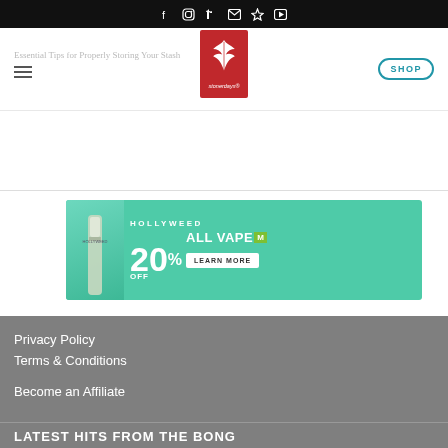f  IG  Twitter  mail  Pinterest  YouTube
[Figure (logo): StonerDays logo - red square with white cannabis leaf and stonerdays text]
Essential Tips for Properly Storing Your Stash
SHOP
[Figure (infographic): Hollyweed 20% OFF ALL VAPES promo banner in teal/green color]
Privacy Policy
Terms & Conditions
Become an Affiliate
LATEST HITS FROM THE BONG